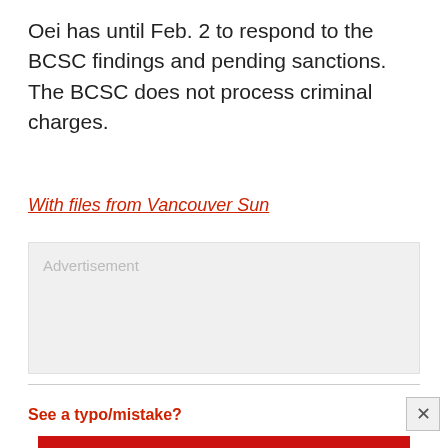Oei has until Feb. 2 to respond to the BCSC findings and pending sanctions. The BCSC does not process criminal charges.
With files from Vancouver Sun
[Figure (other): Advertisement placeholder box with grey background and 'Advertisement' label]
See a typo/mistake?
[Figure (other): Caselot Sale advertisement banner: red background with yellow diagonal stripe, 'Buy big & save big.' text, 'SHOP NOW' button, Save-On Foods logo, and Caselot Sale logo with box illustration]